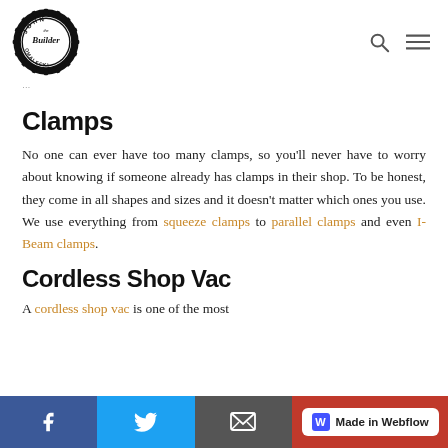John the Builder Omalecki - logo with search and menu icons
...
Clamps
No one can ever have too many clamps, so you'll never have to worry about knowing if someone already has clamps in their shop. To be honest, they come in all shapes and sizes and it doesn't matter which ones you use. We use everything from squeeze clamps to parallel clamps and even I-Beam clamps.
Cordless Shop Vac
A cordless shop vac is one of the most
f | Twitter bird | email icon | Made in Webflow